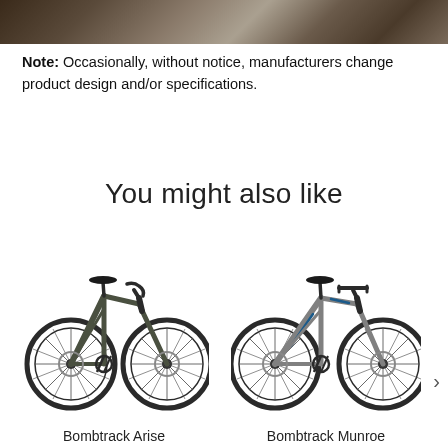[Figure (photo): Partial view of a person on a bicycle, cropped photo at top of page]
Note: Occasionally, without notice, manufacturers change product design and/or specifications.
You might also like
[Figure (photo): Bombtrack Arise road/gravel bike in dark olive/grey color, angled side view]
[Figure (photo): Bombtrack Munroe bike in grey with blue accents, angled side view]
Bombtrack Arise
Bombtrack Munroe